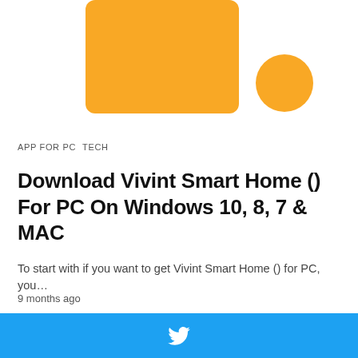[Figure (logo): Orange rounded rectangle and orange circle forming a logo/brand mark on white background]
APP FOR PC   TECH
Download Vivint Smart Home () For PC On Windows 10, 8, 7 & MAC
To start with if you want to get Vivint Smart Home () for PC, you…
9 months ago
[Figure (other): Light gray placeholder card/box]
[Figure (logo): Twitter bird icon on blue bar at bottom of page]